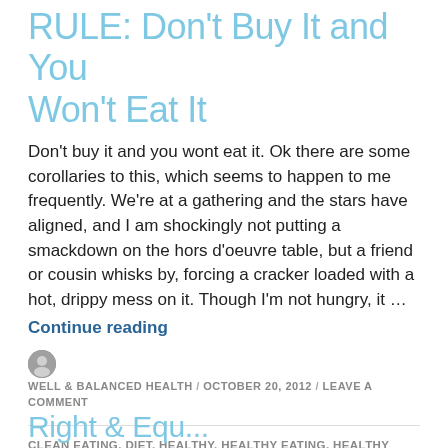RULE: Don't Buy It and You Won't Eat It
Don't buy it and you wont eat it. Ok there are some corollaries to this, which seems to happen to me frequently.  We're at a gathering and the stars have aligned, and I am shockingly not putting a smackdown on the hors d'oeuvre table, but a friend or cousin whisks by, forcing a cracker loaded with a hot, drippy mess on it.  Though I'm not hungry, it ...
Continue reading
WELL & BALANCED HEALTH / OCTOBER 20, 2012 / LEAVE A COMMENT
CLEAN EATING, DIET, HEALTHY, HEALTHY EATING, HEALTHY FOODS, HUMOR, RECIPES, TIPS, UNCATEGORIZED, VEGETABLES, WEIGHT LOSS, WHOLE FOODS